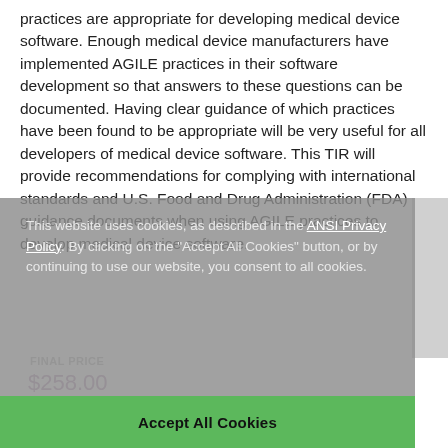practices are appropriate for developing medical device software. Enough medical device manufacturers have implemented AGILE practices in their software development so that answers to these questions can be documented. Having clear guidance of which practices have been found to be appropriate will be very useful for all developers of medical device software. This TIR will provide recommendations for complying with international standards and U.S. Food and Drug Administration (FDA) guidance documents when using AGILE practices to develop medical device software.
This website uses cookies, as described in the ANSI Privacy Policy. By clicking on the "Accept All Cookies" button, or by continuing to use our website, you consent to all cookies.
FINAL PRICE
$258.00
Accept All Cookies